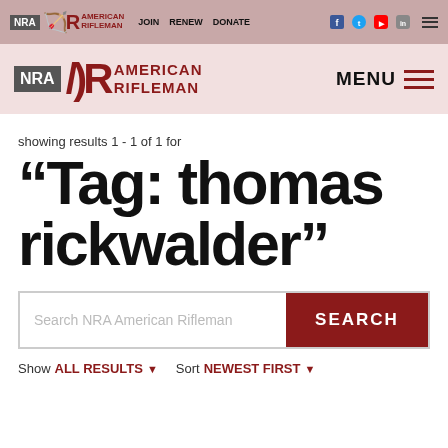NRA American Rifleman — JOIN RENEW DONATE
[Figure (logo): NRA American Rifleman logo with navigation menu button]
showing results 1 - 1 of 1 for
“Tag: thomas rickwalder”
Search NRA American Rifleman — SEARCH button
Show ALL RESULTS ▾   Sort NEWEST FIRST ▾